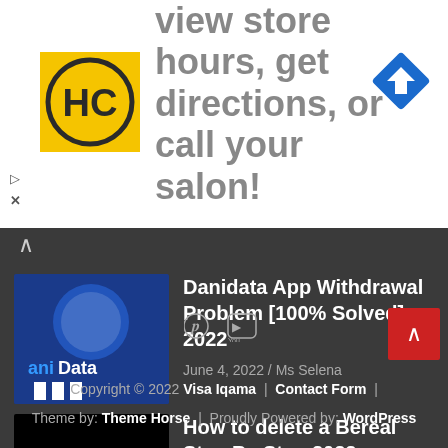[Figure (screenshot): Advertisement banner with HC logo on left, blue arrow direction sign on right, text 'view store hours, get directions, or call your salon!' in gray, with play and close buttons at bottom left.]
[Figure (screenshot): Dark gray blog listing area showing two article cards with thumbnails and metadata.]
Danidata App Withdrawal Problem [100% Solved] 2022
June 4, 2022 / Ms Selena
How to delete a Bereal Step By Step 2022
May 24, 2022 / Ms Selena
Copyright © 2022 Visa Iqama | Contact Form | Theme by: Theme Horse | Proudly Powered by: WordPress